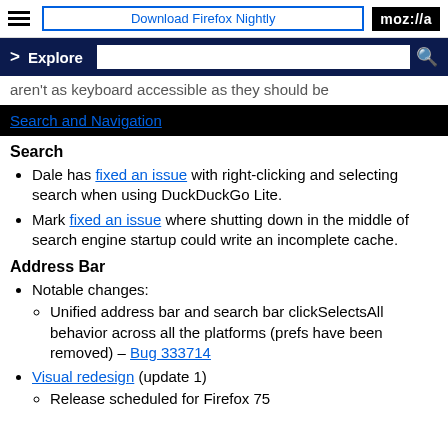Download Firefox Nightly | moz://a
> Explore [search box] [search icon]
aren't as keyboard accessible as they should be
Search and Navigation
Search
Dale has fixed an issue with right-clicking and selecting search when using DuckDuckGo Lite.
Mark fixed an issue where shutting down in the middle of search engine startup could write an incomplete cache.
Address Bar
Notable changes:
Unified address bar and search bar clickSelectsAll behavior across all the platforms (prefs have been removed) – Bug 333714
Visual redesign (update 1)
Release scheduled for Firefox 75